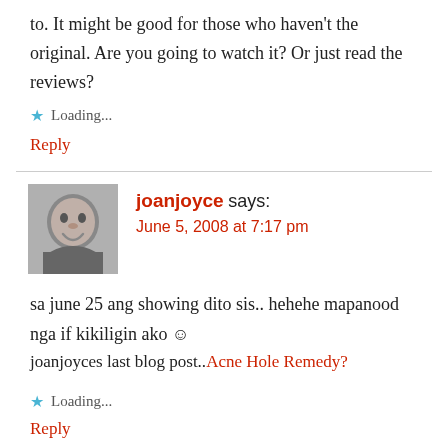to. It might be good for those who haven't the original. Are you going to watch it? Or just read the reviews?
★ Loading...
Reply
joanjoyce says:
June 5, 2008 at 7:17 pm
[Figure (photo): Avatar photo of joanjoyce, grayscale portrait of a smiling woman]
sa june 25 ang showing dito sis.. hehehe mapanood nga if kikiligin ako 🙂
joanjoyces last blog post..Acne Hole Remedy?
★ Loading...
Reply